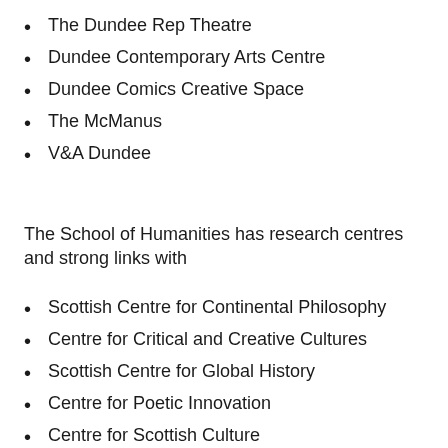The Dundee Rep Theatre
Dundee Contemporary Arts Centre
Dundee Comics Creative Space
The McManus
V&A Dundee
The School of Humanities has research centres and strong links with
Scottish Centre for Continental Philosophy
Centre for Critical and Creative Cultures
Scottish Centre for Global History
Centre for Poetic Innovation
Centre for Scottish Culture
Centre for Scotland's Land Futures and more.